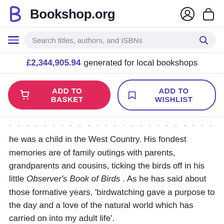Bookshop.org
Search titles, authors, and ISBNs
£2,344,905.94 generated for local bookshops
ADD TO BASKET   ADD TO WISHLIST
he was a child in the West Country. His fondest memories are of family outings with parents, grandparents and cousins, ticking the birds off in his little Observer's Book of Birds . As he has said about those formative years, 'birdwatching gave a purpose to the day and a love of the natural world which has carried on into my adult life'.
Product Details